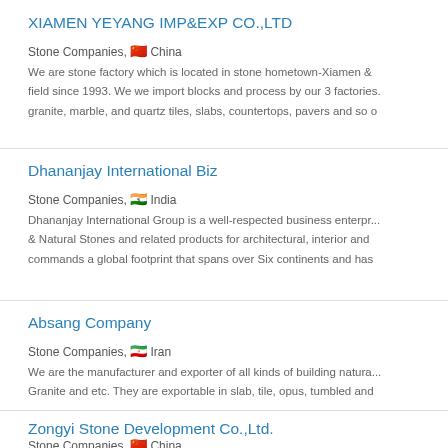XIAMEN YEYANG IMP&EXP CO.,LTD
Stone Companies, 🇨🇳 China
We are stone factory which is located in stone hometown-Xiamen & field since 1993. We we import blocks and process by our 3 factories. granite, marble, and quartz tiles, slabs, countertops, pavers and so o
Dhananjay International Biz
Stone Companies, 🇮🇳 India
Dhananjay International Group is a well-respected business enterpr... & Natural Stones and related products for architectural, interior and commands a global footprint that spans over Six continents and has
Absang Company
Stone Companies, 🇮🇷 Iran
We are the manufacturer and exporter of all kinds of building natura... Granite and etc. They are exportable in slab, tile, opus, tumbled and
Zongyi Stone Development Co.,Ltd.
Stone Companies, 🇨🇳 China
Zongyi stone is a large-scale manufacturer and export supplier of s...